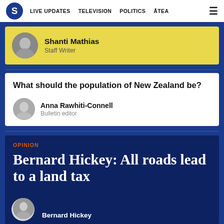S | LIVE UPDATES  TELEVISION  POLITICS  ĀTEA
Shanti Mathias
Staff Writer
What should the population of New Zealand be?
Anna Rawhiti-Connell
Bulletin editor
OPINION
Bernard Hickey: All roads lead to a land tax
Bernard Hickey